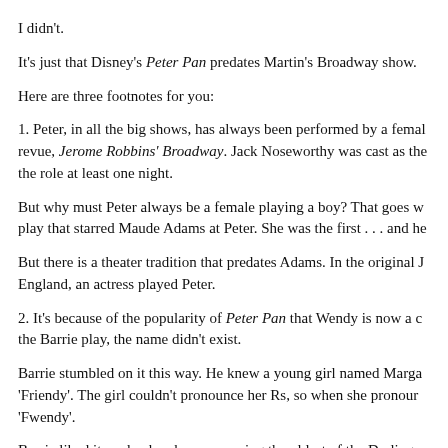I didn't.
It's just that Disney's Peter Pan predates Martin's Broadway show.
Here are three footnotes for you:
1. Peter, in all the big shows, has always been performed by a female. revue, Jerome Robbins' Broadway. Jack Noseworthy was cast as the the role at least one night.
But why must Peter always be a female playing a boy? That goes w play that starred Maude Adams at Peter. She was the first . . . and he
But there is a theater tradition that predates Adams. In the original J England, an actress played Peter.
2. It's because of the popularity of Peter Pan that Wendy is now a c the Barrie play, the name didn't exist.
Barrie stumbled on it this way. He knew a young girl named Marga 'Friendy'. The girl couldn't pronounce her Rs, so when she pronour 'Fwendy'.
Barrie liked it, and, when he was naming the oldest of the Darling c dropped the 'f' and the oldest became Wendy.